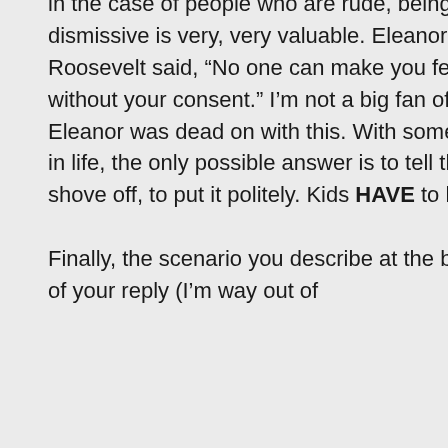in the case of people who are rude, being dismissive is very, very valuable. Eleanor Roosevelt said, “No one can make you feel inferior without your consent.” I’m not a big fan of FDR, but Eleanor was dead on with this. With some people in life, the only possible answer is to tell them to shove off, to put it politely. Kids HAVE to learn this.

Finally, the scenario you describe at the beginning of your reply (I’m way out of